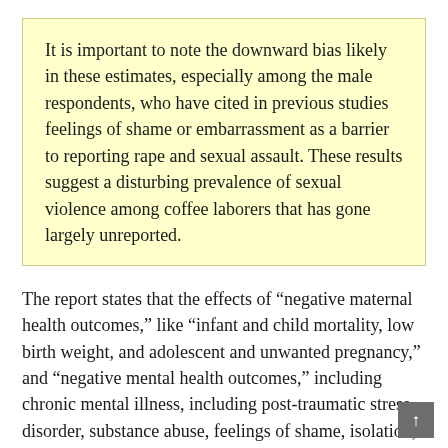It is important to note the downward bias likely in these estimates, especially among the male respondents, who have cited in previous studies feelings of shame or embarrassment as a barrier to reporting rape and sexual assault. These results suggest a disturbing prevalence of sexual violence among coffee laborers that has gone largely unreported.
The report states that the effects of “negative maternal health outcomes,” like “infant and child mortality, low birth weight, and adolescent and unwanted pregnancy,” and “negative mental health outcomes,” including chronic mental illness, including post-traumatic stress disorder, substance abuse, feelings of shame, isolation, entrapment, and emotional distress.”